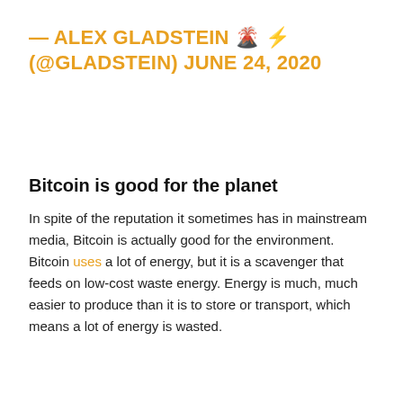— ALEX GLADSTEIN 🌋 ⚡ (@GLADSTEIN) JUNE 24, 2020
Bitcoin is good for the planet
In spite of the reputation it sometimes has in mainstream media, Bitcoin is actually good for the environment. Bitcoin uses a lot of energy, but it is a scavenger that feeds on low-cost waste energy. Energy is much, much easier to produce than it is to store or transport, which means a lot of energy is wasted.